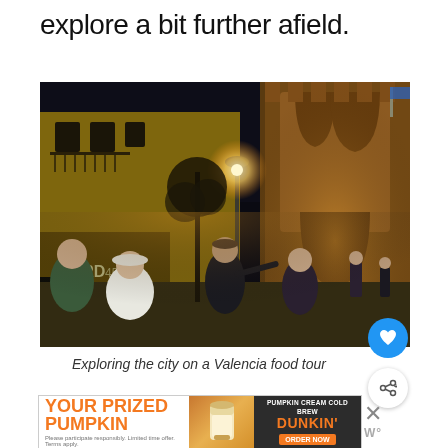explore a bit further afield.
[Figure (photo): Night-time street scene in Valencia showing a group of people on a food tour, with illuminated historic buildings including a medieval stone gate. A street lamp glows warm orange, graffiti is visible on building walls on the left, and the medieval Torres de Serranos gate is lit up in the background on the right.]
Exploring the city on a Valencia food tour
[Figure (infographic): Dunkin' advertisement featuring 'YOUR PRIZED PUMPKIN' text in orange on the left, an image of a pumpkin cream cold brew cup in the center, and 'PUMPKIN CREAM COLD BREW DUNKIN' ORDER NOW' text on the right side with dark background.]